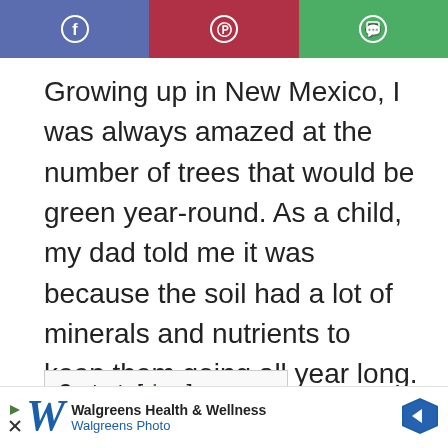[Figure (other): Social share bar with three buttons: Facebook (blue), Pinterest (red/dark pink), WhatsApp (green), each with respective icons]
Growing up in New Mexico, I was always amazed at the number of trees that would be green year-round. As a child, my dad told me it was because the soil had a lot of minerals and nutrients to keep them going all year long. It wasn't until years later when I took a Geology course in college that I learned this is actually not true!
Contents [show]
[Figure (other): Walgreens Health & Wellness advertisement banner with Walgreens logo, text 'Walgreens Health & Wellness' and 'Walgreens Photo', navigation arrow icon]